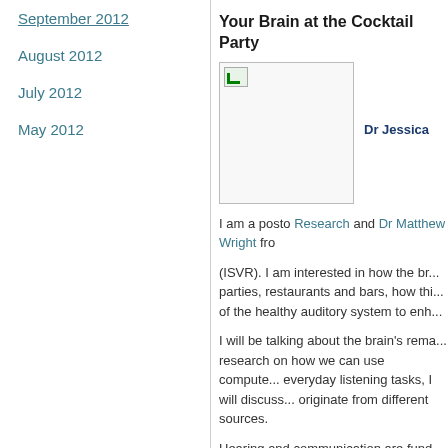September 2012
August 2012
July 2012
May 2012
Your Brain at the Cocktail Party
[Figure (photo): Broken image placeholder with small green icon]
Dr Jessica
I am a postc... Research and Dr Matthew Wright fro... (ISVR). I am interested in how the br... parties, restaurants and bars, how thi... of the healthy auditory system to enh...
I will be talking about the brain's rema... research on how we can use compute... everyday listening tasks, I will discuss... originate from different sources.
Hearing and communication are fund... combining expertise from anatomy, a... brain processes complex sounds is im...